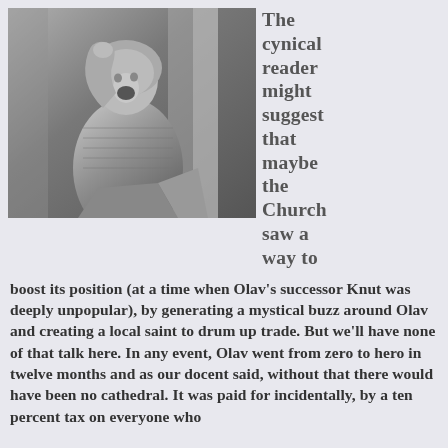[Figure (photo): Black and white photo of a medieval stone sculpture or gargoyle of a grimacing figure in chainmail armor, mouth open wide, one hand raised near its face, appearing to be from a cathedral.]
The cynical reader might suggest that maybe the Church saw a way to boost its position (at a time when Olav's successor Knut was deeply unpopular), by generating a mystical buzz around Olav and creating a local saint to drum up trade. But we'll have none of that talk here. In any event, Olav went from zero to hero in twelve months and as our docent said, without that there would have been no cathedral. It was paid for incidentally, by a ten percent tax on everyone who